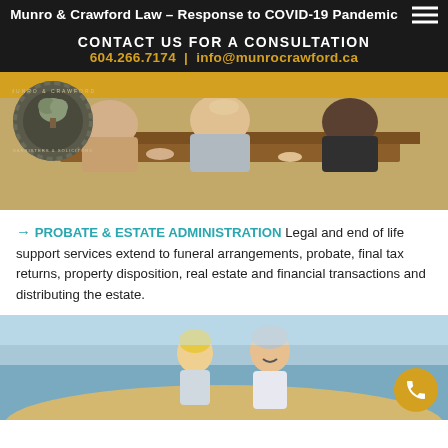Munro & Crawford Law – Response to COVID-19 Pandemic
CONTACT US FOR A CONSULTATION
604.266.7174 | info@munrocrawford.ca
[Figure (photo): People seated around a wooden table, with a gold bar at top and Munro & Crawford logo badge overlaid on left]
→ PROBATE & ESTATE ADMINISTRATION Legal and end of life support services extend to funeral arrangements, probate, final tax returns, property disposition, real estate and financial transactions and distributing the estate.
[Figure (photo): Older couple (man and woman) walking on a beach, smiling. Gold phone button overlay in bottom right.]